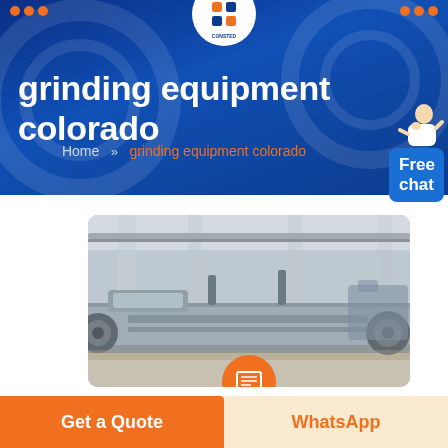CONSTED
grinding equipment colorado
Home » grinding equipment colorado
[Figure (photo): Industrial grinding/mining machine equipment in a factory warehouse setting, showing large flat machinery on a factory floor with overhead crane rails visible]
Get a Quote
WhatsApp